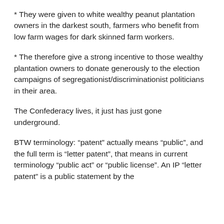* They were given to white wealthy peanut plantation owners in the darkest south, farmers who benefit from low farm wages for dark skinned farm workers.
* The therefore give a strong incentive to those wealthy plantation owners to donate generously to the election campaigns of segregationist/discriminationist politicians in their area.
The Confederacy lives, it just has just gone underground.
BTW terminology: “patent” actually means “public”, and the full term is “letter patent”, that means in current terminology “public act” or “public license”. An IP “letter patent” is a public statement by the